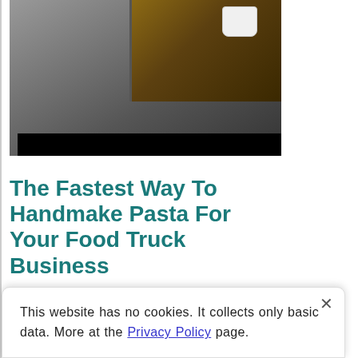[Figure (photo): Photo of a food truck scene with coffee/coffee beans visible in the upper right portion and a dark street surface below; black bar at the bottom of the image.]
The Fastest Way To Handmake Pasta For Your Food Truck Business
This website has no cookies. It collects only basic data. More at the Privacy Policy page.